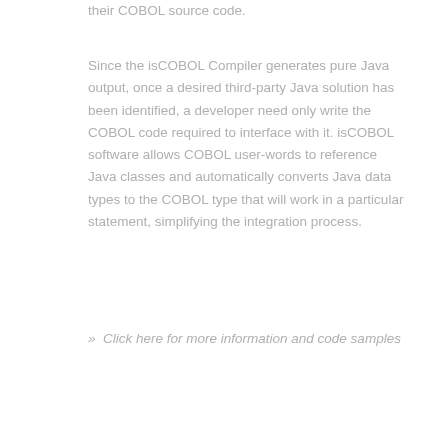their COBOL source code.
Since the isCOBOL Compiler generates pure Java output, once a desired third-party Java solution has been identified, a developer need only write the COBOL code required to interface with it. isCOBOL software allows COBOL user-words to reference Java classes and automatically converts Java data types to the COBOL type that will work in a particular statement, simplifying the integration process.
» Click here for more information and code samples